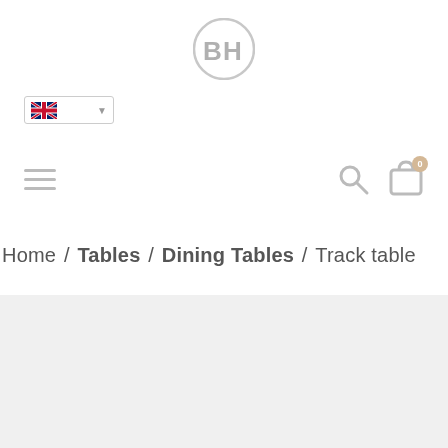[Figure (logo): BH logo circle with stylized B and H letters in gray]
[Figure (screenshot): Language selector dropdown showing UK flag with dropdown arrow, bordered box]
[Figure (screenshot): Navigation bar with hamburger menu icon on left, search icon and shopping bag icon with 0 badge on right]
Home / Tables / Dining Tables / Track table
[Figure (other): Gray background area for product content below breadcrumb]